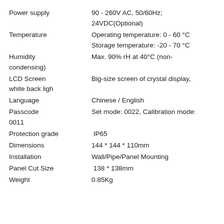| Property | Value |
| --- | --- |
| Power supply | 90 - 260V AC, 50/60Hz;
24VDC(Optional) |
| Temperature | Operating temperature: 0 - 60 °C
Storage temperature: -20 - 70 °C |
| Humidity | Max. 90% rH at 40°C (non-condensing) |
| LCD Screen | Big-size screen of crystal display, white back ligh |
| Language | Chinese / English |
| Passcode | Set mode: 0022, Calibration mode: 0011 |
| Protection grade | IP65 |
| Dimensions | 144 * 144 * 110mm |
| Installation | Wall/Pipe/Panel Mounting |
| Panel Cut Size | 138 * 138mm |
| Weight | 0.85Kg |